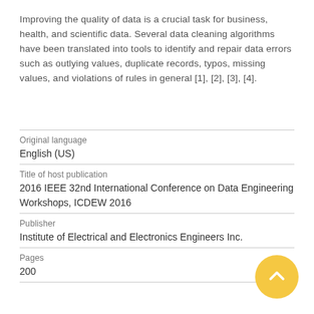Improving the quality of data is a crucial task for business, health, and scientific data. Several data cleaning algorithms have been translated into tools to identify and repair data errors such as outlying values, duplicate records, typos, missing values, and violations of rules in general [1], [2], [3], [4].
| Original language | English (US) |
| Title of host publication | 2016 IEEE 32nd International Conference on Data Engineering Workshops, ICDEW 2016 |
| Publisher | Institute of Electrical and Electronics Engineers Inc. |
| Pages | 200 |